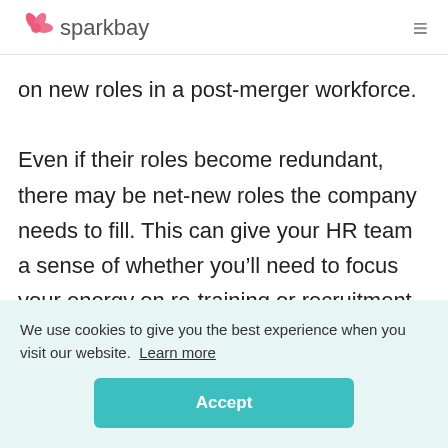sparkbay
on new roles in a post-merger workforce. Even if their roles become redundant, there may be net-new roles the company needs to fill. This can give your HR team a sense of whether you'll need to focus your energy on re-training or recruitment after
We use cookies to give you the best experience when you visit our website. Learn more
Accept
I understand how the acquisition